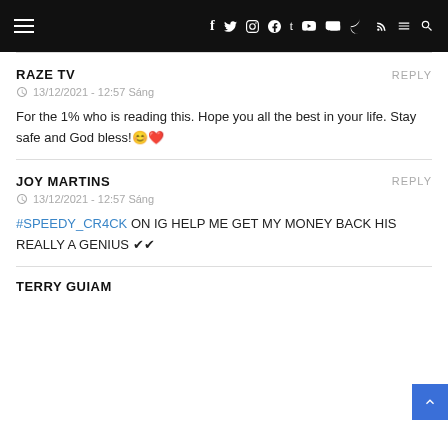Navigation bar with hamburger menu and social icons: f t instagram pinterest t youtube soundcloud rss menu search
RAZE TV
13/12/2021 - 12:57 Sáng
For the 1% who is reading this. Hope you all the best in your life. Stay safe and God bless! 😊❤
JOY MARTINS
13/12/2021 - 12:57 Sáng
#SPEEDY_CR4CK ON IG HELP ME GET MY MONEY BACK HIS REALLY A GENIUS ✔✔
TERRY GUIAM